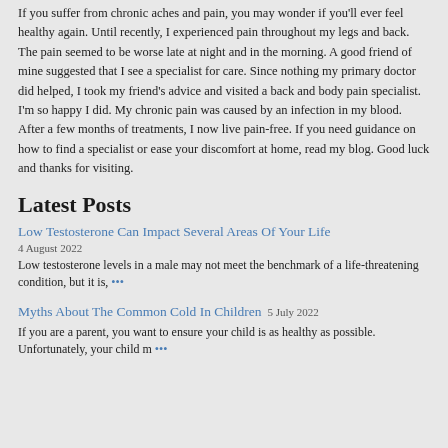If you suffer from chronic aches and pain, you may wonder if you'll ever feel healthy again. Until recently, I experienced pain throughout my legs and back. The pain seemed to be worse late at night and in the morning. A good friend of mine suggested that I see a specialist for care. Since nothing my primary doctor did helped, I took my friend's advice and visited a back and body pain specialist. I'm so happy I did. My chronic pain was caused by an infection in my blood. After a few months of treatments, I now live pain-free. If you need guidance on how to find a specialist or ease your discomfort at home, read my blog. Good luck and thanks for visiting.
Latest Posts
Low Testosterone Can Impact Several Areas Of Your Life
4 August 2022
Low testosterone levels in a male may not meet the benchmark of a life-threatening condition, but it is, •••
Myths About The Common Cold In Children
5 July 2022
If you are a parent, you want to ensure your child is as healthy as possible. Unfortunately, your child m •••